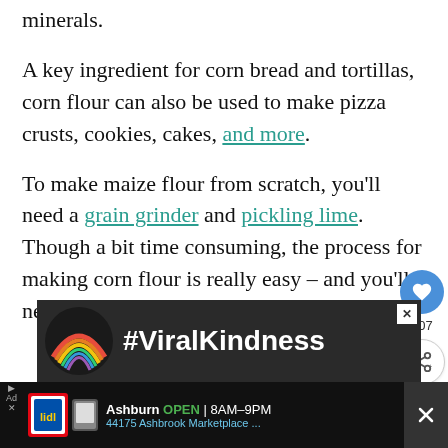minerals.
A key ingredient for corn bread and tortillas, corn flour can also be used to make pizza crusts, cookies, cakes, and more.
To make maize flour from scratch, you'll need a grain grinder and pickling lime. Though a bit time consuming, the process for making corn flour is really easy – and you'll never have tastier tortilla.
[Figure (infographic): #ViralKindness banner advertisement with rainbow graphic]
[Figure (infographic): Lidl store advertisement: Ashburn OPEN 8AM-9PM, 44175 Ashbrook Marketplace ...]